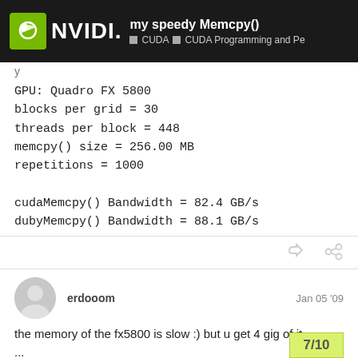my speedy Memcpy() — CUDA — CUDA Programming and Pe
y
GPU: Quadro FX 5800
blocks per grid = 30
threads per block = 448
memcpy() size = 256.00 MB
repetitions = 1000

cudaMemcpy() Bandwidth = 82.4 GB/s
dubyMemcpy() Bandwidth = 88.1 GB/s
erdooom  Jan 05 '09
the memory of the fx5800 is slow :) but u get 4 gig of it ...